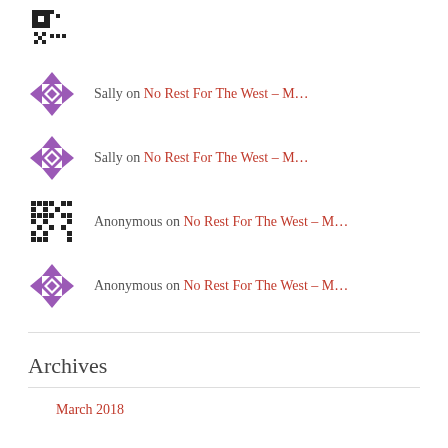[Figure (other): Black pixel/QR-code style avatar icon at top]
Sally on No Rest For The West – M…
Sally on No Rest For The West – M…
Anonymous on No Rest For The West – M…
Anonymous on No Rest For The West – M…
Archives
March 2018